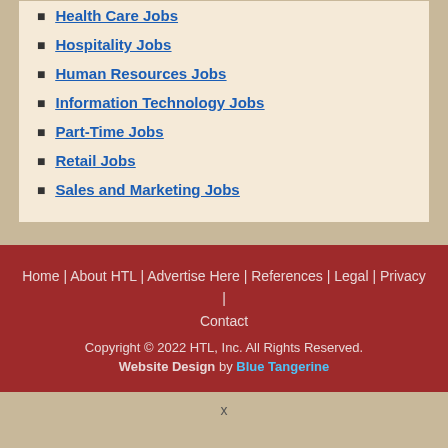Health Care Jobs
Hospitality Jobs
Human Resources Jobs
Information Technology Jobs
Part-Time Jobs
Retail Jobs
Sales and Marketing Jobs
Home | About HTL | Advertise Here | References | Legal | Privacy | Contact
Copyright © 2022 HTL, Inc. All Rights Reserved.
Website Design by Blue Tangerine